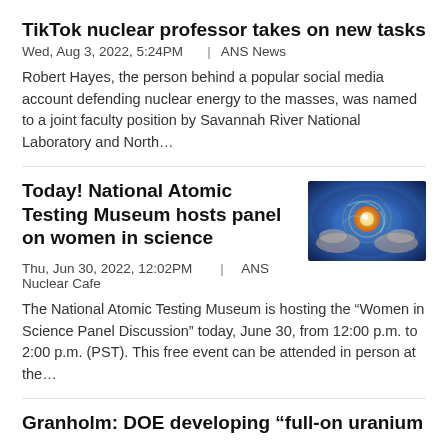TikTok nuclear professor takes on new tasks
Wed, Aug 3, 2022, 5:24PM  |  ANS News
Robert Hayes, the person behind a popular social media account defending nuclear energy to the masses, was named to a joint faculty position by Savannah River National Laboratory and North…
Today! National Atomic Testing Museum hosts panel on women in science
[Figure (photo): Blue mystical image of hands cradling a glowing orb or atom]
Thu, Jun 30, 2022, 12:02PM  |  ANS Nuclear Cafe
The National Atomic Testing Museum is hosting the “Women in Science Panel Discussion” today, June 30, from 12:00 p.m. to 2:00 p.m. (PST). This free event can be attended in person at the…
Granholm: DOE developing “full-on uranium